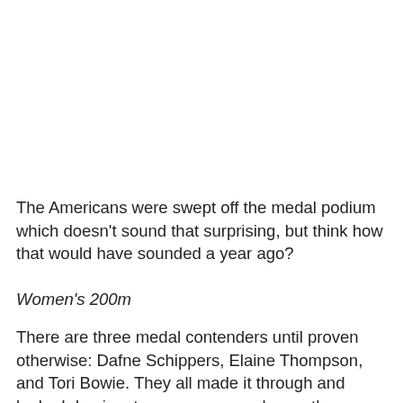The Americans were swept off the medal podium which doesn't sound that surprising, but think how that would have sounded a year ago?
Women's 200m
There are three medal contenders until proven otherwise: Dafne Schippers, Elaine Thompson, and Tori Bowie. They all made it through and looked dominant over everyone else on the way there. Desiré...